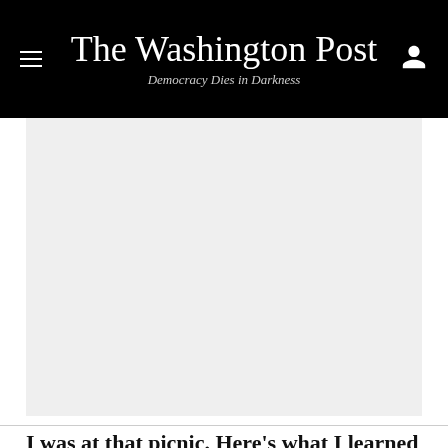The Washington Post — Democracy Dies in Darkness
[Figure (photo): Large photographic image area, appears as a light gray placeholder rectangle]
I was at that picnic. Here's what I learned about the phenomenon that is Donald Trump.